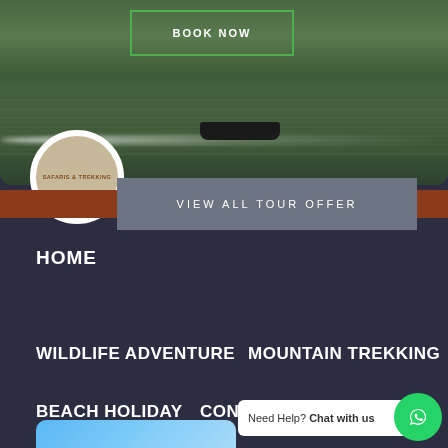[Figure (photo): Boat on a river/lake with dark green water, taken from above. Boat wake visible. Background shows water with reflections.]
BOOK NOW
[Figure (logo): Circular logo with text SAFARIS & TREKKING on a beige/tan background]
VIEW ALL TOUR OFFER
HOME
WILDLIFE ADVENTURE
MOUNTAIN TREKKING
BEACH HOLIDAY
CONTACT
Need Help? Chat with us